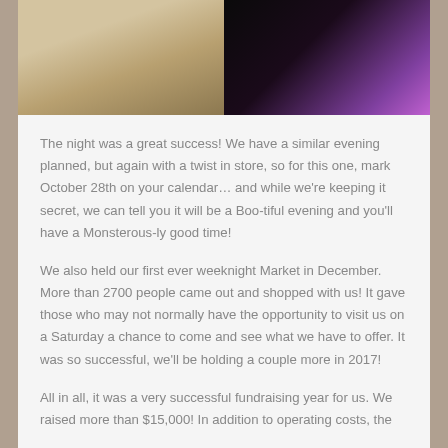[Figure (photo): Two photos side by side at top: left photo shows a wooden market booth/stand with a person standing behind it; right photo shows a dark background with a colorful neon/glowing decorative element in the upper right corner.]
The night was a great success! We have a similar evening planned, but again with a twist in store, so for this one, mark October 28th on your calendar… and while we're keeping it secret, we can tell you it will be a Boo-tiful evening and you'll have a Monsterous-ly good time!
We also held our first ever weeknight Market in December. More than 2700 people came out and shopped with us! It gave those who may not normally have the opportunity to visit us on a Saturday a chance to come and see what we have to offer. It was so successful, we'll be holding a couple more in 2017!
All in all, it was a very successful fundraising year for us. We raised more than $15,000! In addition to operating costs, the